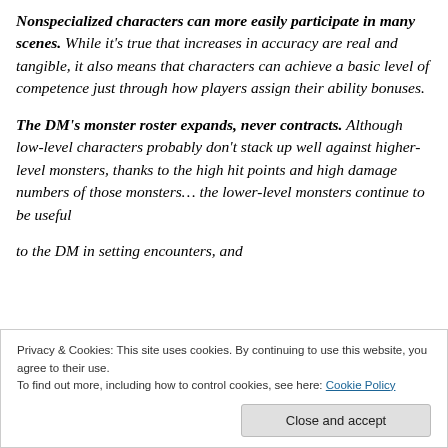Nonspecialized characters can more easily participate in many scenes. While it's true that increases in accuracy are real and tangible, it also means that characters can achieve a basic level of competence just through how players assign their ability bonuses.
The DM's monster roster expands, never contracts. Although low-level characters probably don't stack up well against higher-level monsters, thanks to the high hit points and high damage numbers of those monsters… the lower-level monsters continue to be useful to the DM in setting encounters, and...
Privacy & Cookies: This site uses cookies. By continuing to use this website, you agree to their use.
To find out more, including how to control cookies, see here: Cookie Policy
Close and accept
DCs to various tasks.